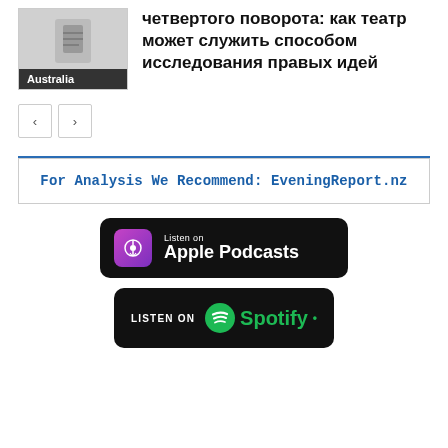четвертого поворота: как театр может служить способом исследования правых идей
[Figure (screenshot): Thumbnail image with Australia label]
< >  navigation buttons
For Analysis We Recommend: EveningReport.nz
[Figure (logo): Listen on Apple Podcasts badge - black rounded rectangle with purple podcast icon]
[Figure (logo): Listen on Spotify badge - black rounded rectangle with green Spotify logo]